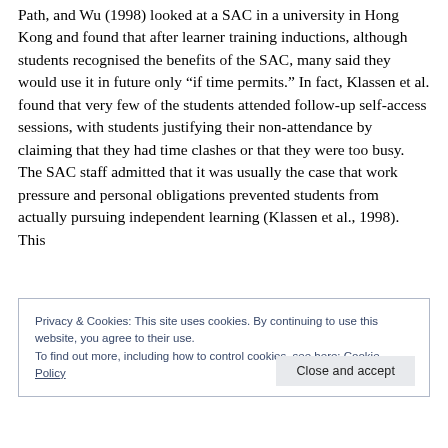Path, and Wu (1998) looked at a SAC in a university in Hong Kong and found that after learner training inductions, although students recognised the benefits of the SAC, many said they would use it in future only “if time permits.” In fact, Klassen et al. found that very few of the students attended follow-up self-access sessions, with students justifying their non-attendance by claiming that they had time clashes or that they were too busy. The SAC staff admitted that it was usually the case that work pressure and personal obligations prevented students from actually pursuing independent learning (Klassen et al., 1998). This
Privacy & Cookies: This site uses cookies. By continuing to use this website, you agree to their use.
To find out more, including how to control cookies, see here: Cookie Policy